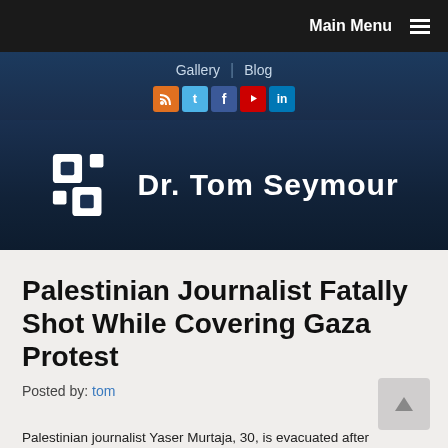Main Menu
Gallery | Blog
[Figure (logo): Dr. Tom Seymour logo with abstract square icon and white text on dark blue background]
Palestinian Journalist Fatally Shot While Covering Gaza Protest
Posted by: tom
Palestinian journalist Yaser Murtaja, 30, is evacuated after